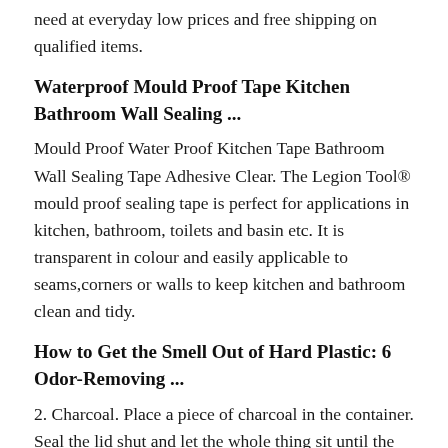need at everyday low prices and free shipping on qualified items.
Waterproof Mould Proof Tape Kitchen Bathroom Wall Sealing ...
Mould Proof Water Proof Kitchen Tape Bathroom Wall Sealing Tape Adhesive Clear. The Legion Tool® mould proof sealing tape is perfect for applications in kitchen, bathroom, toilets and basin etc. It is transparent in colour and easily applicable to seams,corners or walls to keep kitchen and bathroom clean and tidy.
How to Get the Smell Out of Hard Plastic: 6 Odor-Removing ...
2. Charcoal. Place a piece of charcoal in the container. Seal the lid shut and let the whole thing sit until the odor has been absorbed. Credit: Joe Lingeman. 3. Baking Soda. Sprinkle in some baking soda and add a bit of